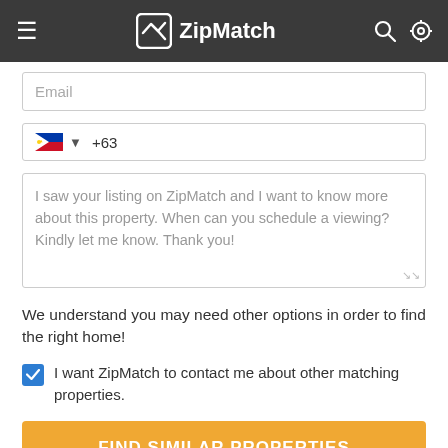ZipMatch
Email
+63
I saw your listing on ZipMatch and I want to know more about this property. When can you schedule a viewing? Kindly let me know. Thank you!
We understand you may need other options in order to find the right home!
I want ZipMatch to contact me about other matching properties.
FIND SIMILAR PROPERTIES
Report Inaccurate Data